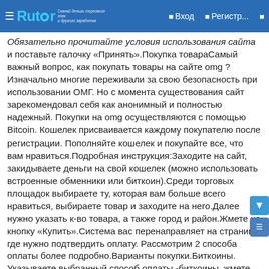Rutor — Вход — Регистр...
Обязательно прочитайте условия использования сайта и поставьте галочку «Принять».Покупка товараСамый важный вопрос, как покупать товары на сайте omg ? Изначально многие переживали за свою безопасность при использовании ОМГ. Но с момента существования сайт зарекомендовал себя как анонимный и полностью надежный. Покупки на omg осуществляются с помощью Bitcoin. Кошелек присваивается каждому покупателю после регистрации. Пополняйте кошелек и покупайте все, что вам нравиться.Подробная инструкция:Заходите на сайт, закидываете деньги на свой кошелек (можно использовать встроенные обменники или биткоин).Среди торговых площадок выбираете ту, которая вам больше всего нравиться, выбираете товар и заходите на него.Далее нужно указать к-во товара, а также город и район.Жмете на кнопку «Купить».Система вас перенаправляет на страницу, где нужно подтвердить оплату. Рассмотрим 2 способа оплаты более подробно.Варианты покупки.Биткоины. Указываете выбранный способ оплаты -биткоины, жмете «Подтверждаю заказ». Через несколько секунд с вашего